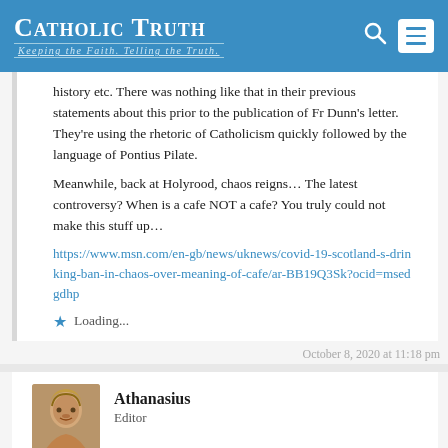Catholic Truth — Keeping the Faith. Telling the Truth.
history etc. There was nothing like that in their previous statements about this prior to the publication of Fr Dunn's letter. They're using the rhetoric of Catholicism quickly followed by the language of Pontius Pilate.
Meanwhile, back at Holyrood, chaos reigns… The latest controversy? When is a cafe NOT a cafe? You truly could not make this stuff up…
https://www.msn.com/en-gb/news/uknews/covid-19-scotland-s-drinking-ban-in-chaos-over-meaning-of-cafe/ar-BB19Q3Sk?ocid=msedgdhp
Loading...
October 8, 2020 at 11:18 pm
Athanasius
Editor
Yes, I see what you mean, there is a